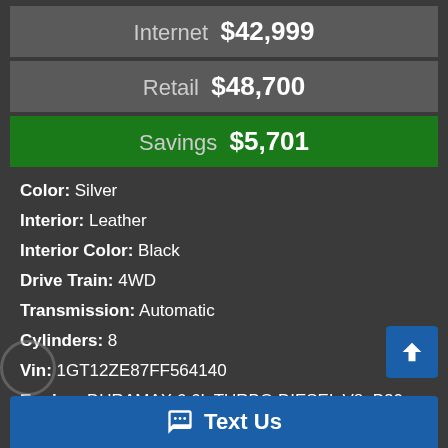Internet $42,999
Retail $48,700
Savings $5,701
Color: Silver
Interior: Leather
Interior Color: Black
Drive Train: 4WD
Transmission: Automatic
Cylinders: 8
Vin: 1GT12ZE87FF564140
Engine: DURAMAX 6.6L TURBO DIESEL V8, B20-DIESEL COMPATIBL
Mileage: 188,631
Text Us